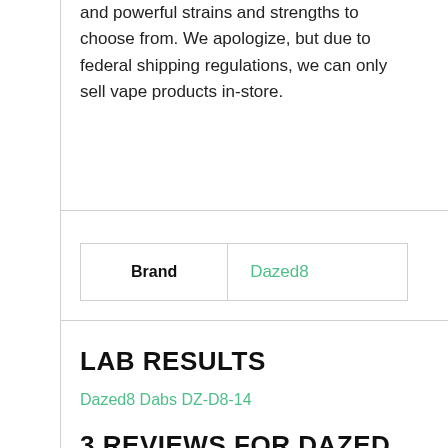and powerful strains and strengths to choose from. We apologize, but due to federal shipping regulations, we can only sell vape products in-store.
| Brand | Dazed8 |
| --- | --- |
| Brand | Dazed8 |
LAB RESULTS
Dazed8 Dabs DZ-D8-14
3 REVIEWS FOR DAZED 8